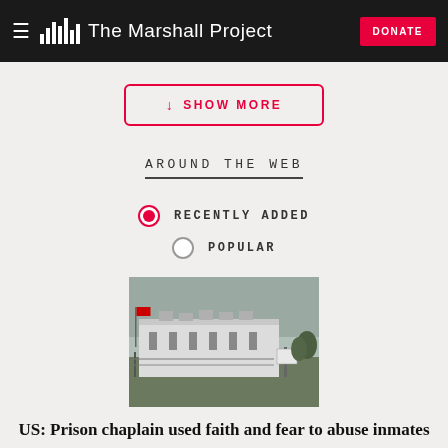The Marshall Project
↓ SHOW MORE
AROUND THE WEB
RECENTLY ADDED
POPULAR
[Figure (photo): Exterior view of a prison facility with white concrete building and fence]
US: Prison chaplain used faith and fear to abuse inmates
APNEWS.COM • ADDED 08.31.2022 • BROKEN LINK?